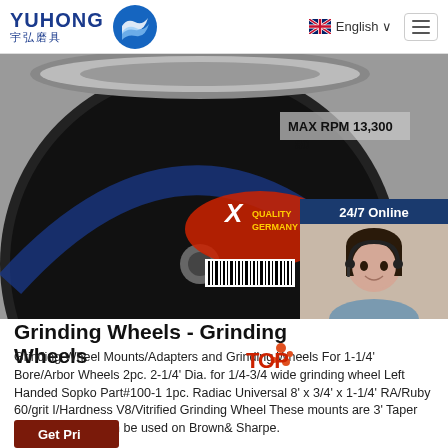YUHONG 宇弘磨具 | English
[Figure (photo): Close-up photo of a grinding wheel (abrasive disc) with X-Quality Germany label and barcode; 24/7 Online chat widget with agent photo overlaid on the right side]
Grinding Wheels - Grinding Wheels
Grinding Wheel Mounts/Adapters and Grinding Wheels For 1-1/4' Bore/Arbor Wheels 2pc. 2-1/4' Dia. for 1/4-3/4 wide grinding wheel Left Handed Sopko Part#100-1 1pc. Radiac Universal 8' x 3/4' x 1-1/4' RA/Ruby 60/grit I/Hardness V8/Vitrified Grinding Wheel These mounts are 3' Taper Per Foot. They can be used on Brown& Sharpe.